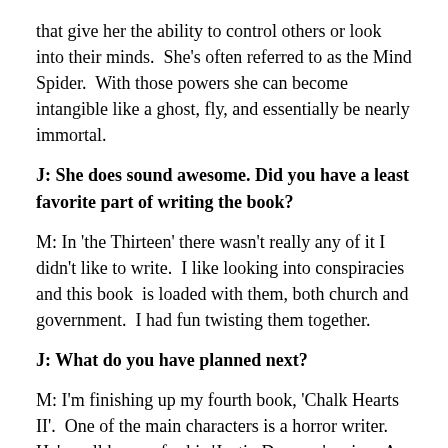that give her the ability to control others or look into their minds.  She's often referred to as the Mind Spider.  With those powers she can become intangible like a ghost, fly, and essentially be nearly immortal.
J: She does sound awesome. Did you have a least favorite part of writing the book?
M: In 'the Thirteen' there wasn't really any of it I didn't like to write.  I like looking into conspiracies and this book  is loaded with them, both church and government.  I had fun twisting them together.
J: What do you have planned next?
M: I'm finishing up my fourth book, 'Chalk Hearts II'.  One of the main characters is a horror writer.  He's well known for his 'Justin Daemon' series.  A vampire series.  I